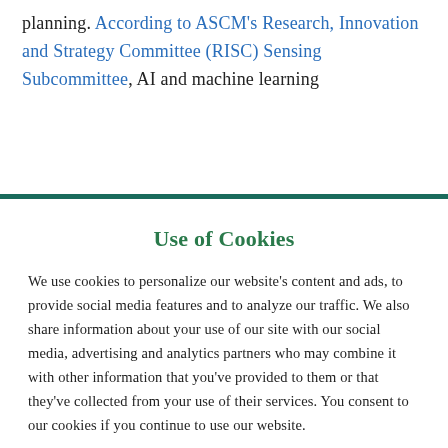planning. According to ASCM's Research, Innovation and Strategy Committee (RISC) Sensing Subcommittee, AI and machine learning
Use of Cookies
We use cookies to personalize our website's content and ads, to provide social media features and to analyze our traffic. We also share information about your use of our site with our social media, advertising and analytics partners who may combine it with other information that you've provided to them or that they've collected from your use of their services. You consent to our cookies if you continue to use our website.
OK